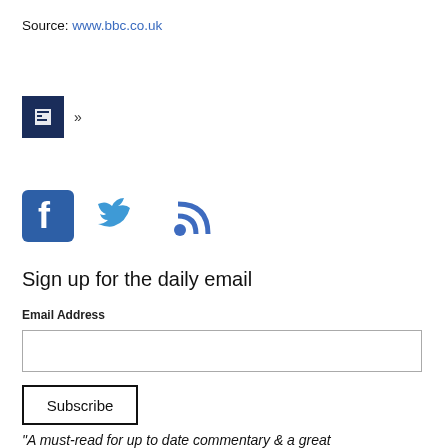Source: www.bbc.co.uk
[Figure (other): Navigation block with dark blue square containing an icon and a right-arrow (») character]
[Figure (other): Social media icons: Facebook, Twitter, RSS feed]
Sign up for the daily email
Email Address
[Figure (other): Empty email input text field]
[Figure (other): Subscribe button]
“A must-read for up to date commentary & a great